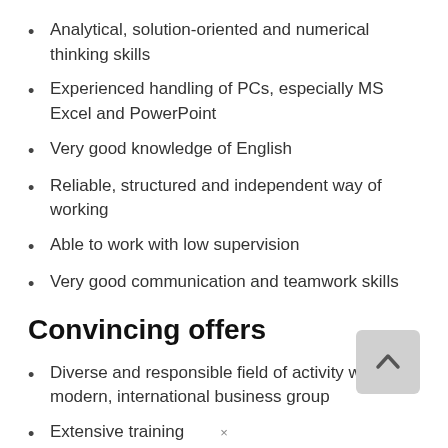Analytical, solution-oriented and numerical thinking skills
Experienced handling of PCs, especially MS Excel and PowerPoint
Very good knowledge of English
Reliable, structured and independent way of working
Able to work with low supervision
Very good communication and teamwork skills
Convincing offers
Diverse and responsible field of activity within a modern, international business group
Extensive training
(faded/partially visible text line)